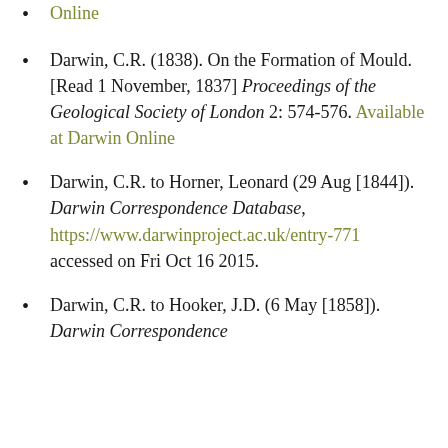Online
Darwin, C.R. (1838). On the Formation of Mould. [Read 1 November, 1837] Proceedings of the Geological Society of London 2: 574-576. Available at Darwin Online
Darwin, C.R. to Horner, Leonard (29 Aug [1844]). Darwin Correspondence Database, https://www.darwinproject.ac.uk/entry-771 accessed on Fri Oct 16 2015.
Darwin, C.R. to Hooker, J.D. (6 May [1858]). Darwin Correspondence